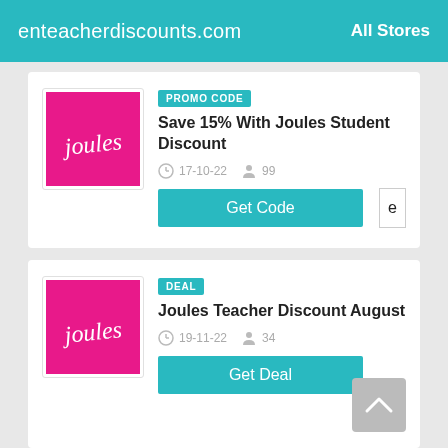enteacherdiscounts.com   All Stores
[Figure (logo): Joules brand logo - pink/magenta square with white cursive 'joules' text]
PROMO CODE
Save 15% With Joules Student Discount
17-10-22   99
Get Code
[Figure (logo): Joules brand logo - pink/magenta square with white cursive 'joules' text]
DEAL
Joules Teacher Discount August
19-11-22   34
Get Deal